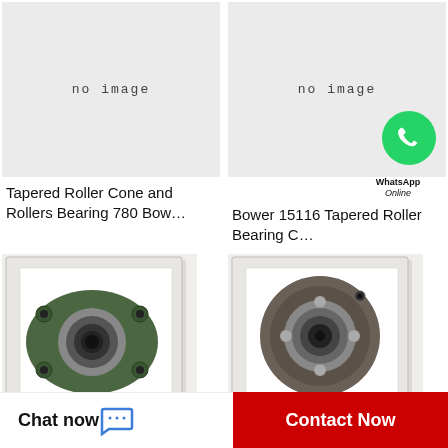[Figure (photo): No image placeholder box, light gray background with text 'no image']
[Figure (photo): No image placeholder box, light gray background with text 'no image', WhatsApp icon overlay]
Tapered Roller Cone and Rollers Bearing 780 Bow…
Bower 15116 Tapered Roller Bearing C…
[Figure (photo): Photo of a green four-bolt flange bearing unit]
[Figure (photo): Photo of a tapered roller bearing component]
Chat now
Contact Now